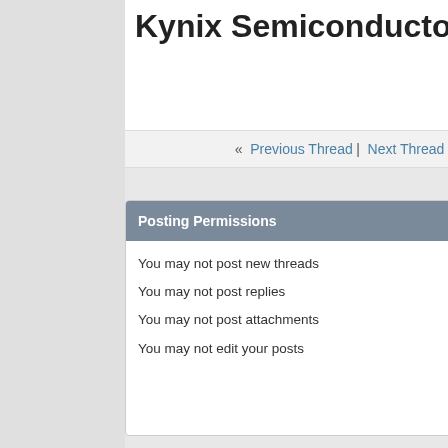Kynix Semiconductor
« Previous Thread | Next Thread
Posting Permissions
You may not post new threads
You may not post replies
You may not post attachments
You may not edit your posts
BB code is On
Smilies are On
[IMG] code is On
[VIDEO] code is On
HTML code is Off
Forum Rules
For iPhone/Android/iPad, use Forum Runner or Tapatalk   WB H
Contact Us   WoodenBoat Subscription
All times are GMT -5. The time now is 05:5
Powered by vBulletin® Version 4.2.4 Be Copyright © 2022 vBulletin Solutions, Inc. All rig
Copyright WoodenBoat Publications, 2020 an